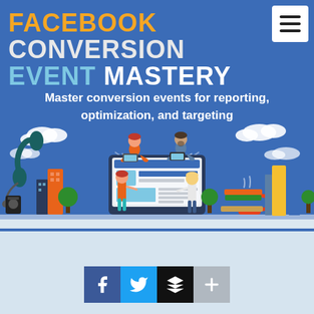FACEBOOK CONVERSION EVENT MASTERY
Master conversion events for reporting, optimization, and targeting
[Figure (illustration): Flat vector illustration of people interacting with a large computer monitor showing a Facebook-like interface. City buildings, clouds, trees, headphones, a coffee mug and books surround the scene.]
[Figure (infographic): A row of four social sharing buttons: Facebook (dark blue with 'f'), Twitter (cyan with bird), Buffer (black with stacked layers icon), and a plus button (grey).]